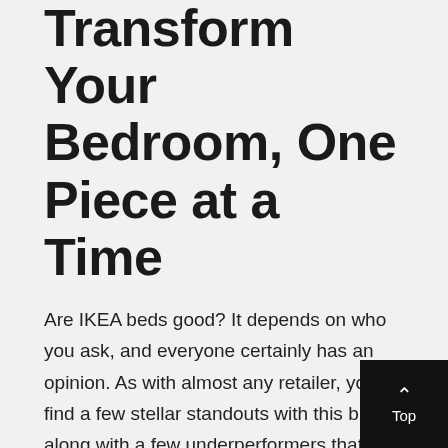Transform Your Bedroom, One Piece at a Time
Are IKEA beds good? It depends on who you ask, and everyone certainly has an opinion. As with almost any retailer, you'll find a few stellar standouts with this brand, along with a few underperformers that you know to avoid.
Start your search online to compare features, styles, and prices. Then, head to the store to determine if your choice is the right one. While